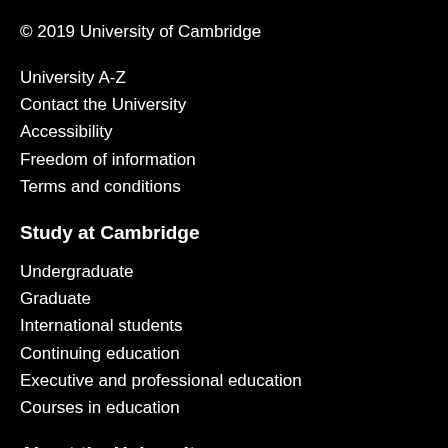© 2019 University of Cambridge
University A-Z
Contact the University
Accessibility
Freedom of information
Terms and conditions
Study at Cambridge
Undergraduate
Graduate
International students
Continuing education
Executive and professional education
Courses in education
About the University
How the University and Colleges work